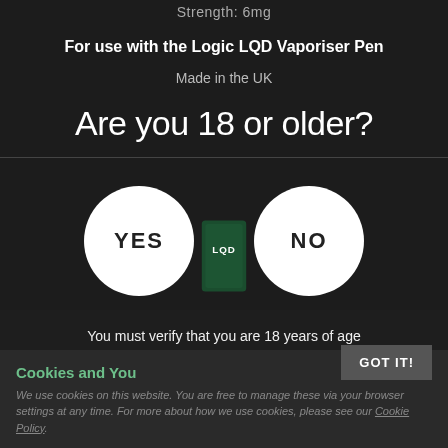Strength: 6mg
For use with the Logic LQD Vaporiser Pen
Made in the UK
Are you 18 or older?
[Figure (other): Two circular white buttons labeled YES and NO on dark background, with a green product bottle partially visible behind them]
You must verify that you are 18 years of age or older to enter this site.
Cookies and You
We use cookies on this website. You are free to manage these via your browser settings at any time. For more about how we use cookies, please see our Cookie Policy.